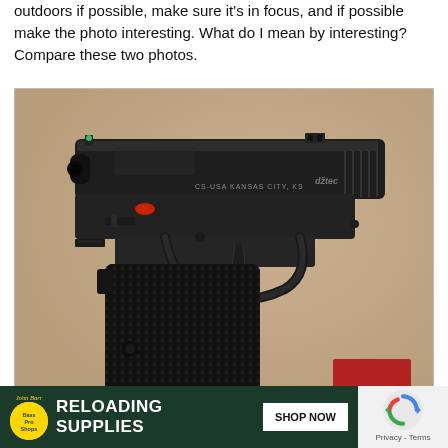outdoors if possible, make sure it's in focus, and if possible make the photo interesting. What do I mean by interesting? Compare these two photos.
[Figure (photo): A semi-automatic pistol (CZ 75 style) laying on a tan/beige surface, shot from above at an angle. The gun is black with textured grip panels. A TFB logo badge is visible in the bottom right corner of the image.]
Bland background
[Figure (screenshot): Bass Pro Shops advertisement banner for Reloading Supplies with a Shop Now button]
[Figure (other): Google reCAPTCHA widget with Privacy - Terms text]